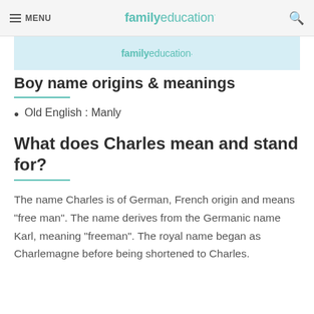MENU | familyeducation
[Figure (logo): familyeducation logo in blue banner]
Boy name origins & meanings
Old English : Manly
What does Charles mean and stand for?
The name Charles is of German, French origin and means "free man". The name derives from the Germanic name Karl, meaning "freeman". The royal name began as Charlemagne before being shortened to Charles.